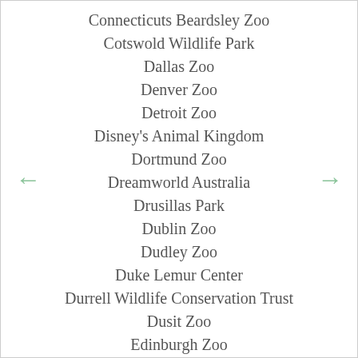Connecticuts Beardsley Zoo
Cotswold Wildlife Park
Dallas Zoo
Denver Zoo
Detroit Zoo
Disney's Animal Kingdom
Dortmund Zoo
Dreamworld Australia
Drusillas Park
Dublin Zoo
Dudley Zoo
Duke Lemur Center
Durrell Wildlife Conservation Trust
Dusit Zoo
Edinburgh Zoo
Edmonton Valley Zoo
Everland Zoo
Exmoor Zoo
Florida Aquarium